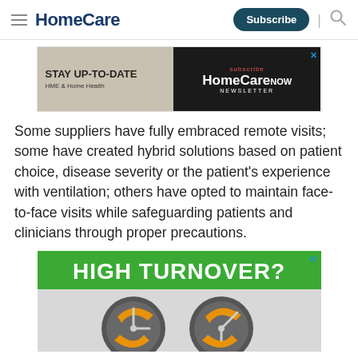HomeCare | Subscribe
[Figure (screenshot): Advertisement banner for HomeCare NOW newsletter with text: STAY UP-TO-DATE HME & Home Health, subscribe HomeCare NOW NEWSLETTER]
Some suppliers have fully embraced remote visits; some have created hybrid solutions based on patient choice, disease severity or the patient's experience with ventilation; others have opted to maintain face-to-face visits while safeguarding patients and clinicians through proper precautions.
[Figure (illustration): Advertisement banner with text HIGH TURNOVER? and an illustration of a clock/turnover graphic below]